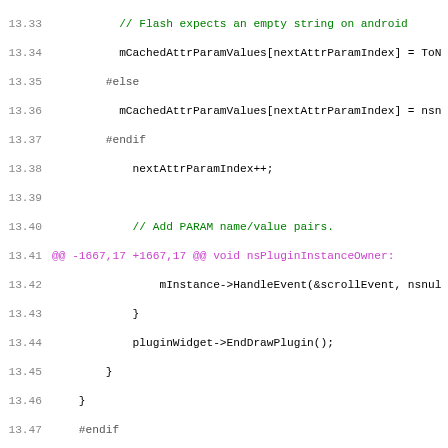Source code diff showing lines 13.33 to 13.64 of a C++ plugin file, including preprocessor directives, diff hunks, and code for nsPluginInstanceOwner